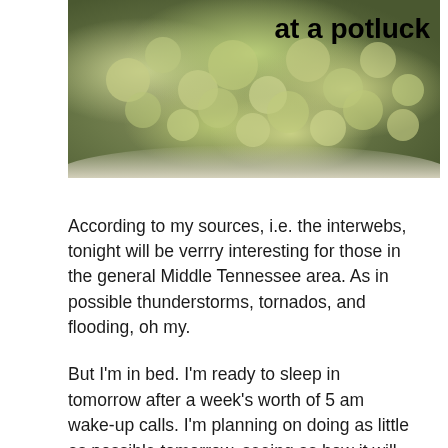[Figure (photo): Photo of a dish of food (appears to be cauliflower or potato salad in a white bowl) with text overlay 'at a potluck' in bold black font in upper right corner]
According to my sources, i.e. the interwebs, tonight will be verrry interesting for those in the general Middle Tennessee area. As in possible thunderstorms, tornados, and flooding, oh my.
But I'm in bed. I'm ready to sleep in tomorrow after a week's worth of 5 am wake-up calls. I'm planning on doing as little as possible tomorrow, seeing as how it will be a big wet mess outside.
I am tired, but it's the good kind of tired from actually doing stuff and being all productive and earning a living rather than from doing nothing all day and feeling very